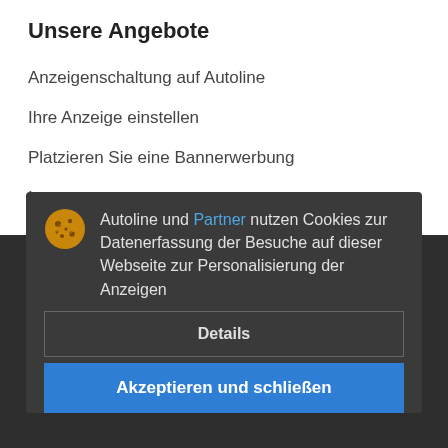Unsere Angebote
Anzeigenschaltung auf Autoline
Ihre Anzeige einstellen
Platzieren Sie eine Bannerwerbung
Impressum
Partnerprogramm
Autoline und Partner nutzen Cookies zur Datenerfassung der Besuche auf dieser Webseite zur Personalisierung der Anzeigen
Details
Akzeptieren und schließen